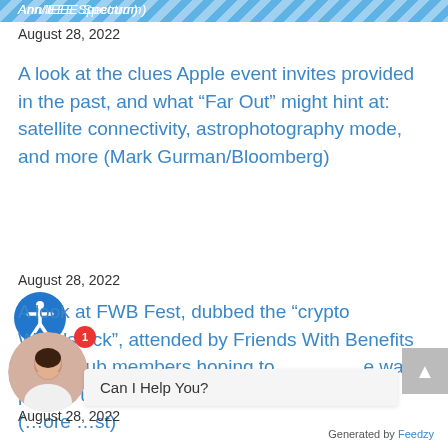Ann/IEEE Spectrum)
August 28, 2022
A look at the clues Apple event invites provided in the past, and what “Far Out” might hint at: satellite connectivity, astrophotography mode, and more (Mark Gurman/Bloomberg)
August 28, 2022
A look at FWB Fest, dubbed the “crypto Woodstock”, attended by Friends With Benefits social club members hoping to change the way people use blockchain tech (…ore …st)
August 28, 2022
Can I Help You?
Generated by Feedzy